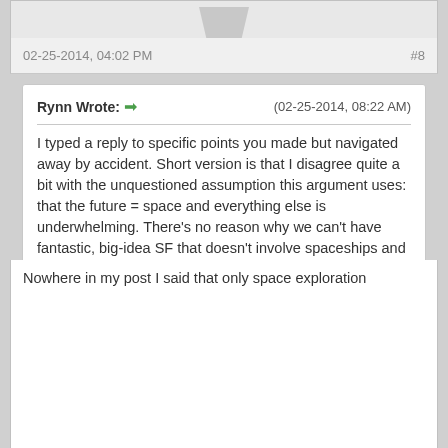02-25-2014, 04:02 PM
#8
Rynn Wrote: → (02-25-2014, 08:22 AM)
I typed a reply to specific points you made but navigated away by accident. Short version is that I disagree quite a bit with the unquestioned assumption this argument uses: that the future = space and everything else is underwhelming. There's no reason why we can't have fantastic, big-idea SF that doesn't involve spaceships and Mars colonies.

Incidentally I doubt bacteria on Mars would change space exploration much other than to provoke a short lived public interest, a longer term series of academic discussion and a change in policy for future probes to carry more microbiology equipment. Oh and it would mean that in future discussions about future space colonisation exo-environmentalist arguments will get a higher priority.
Nowhere in my post I said that only space exploration